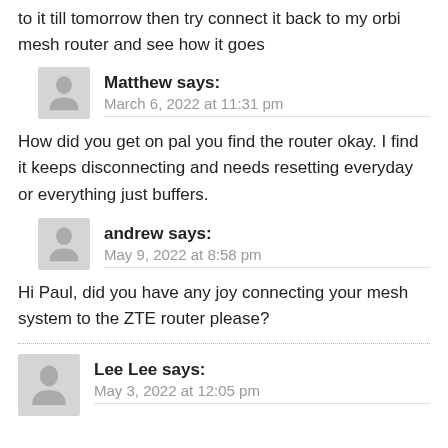to it till tomorrow then try connect it back to my orbi mesh router and see how it goes
Matthew says: March 6, 2022 at 11:31 pm
How did you get on pal you find the router okay. I find it keeps disconnecting and needs resetting everyday or everything just buffers.
andrew says: May 9, 2022 at 8:58 pm
Hi Paul, did you have any joy connecting your mesh system to the ZTE router please?
Lee Lee says: May 3, 2022 at 12:05 pm